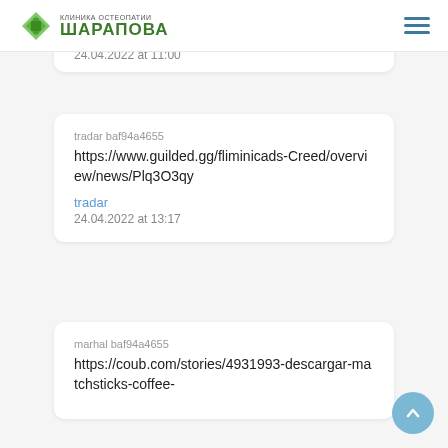КЛИНИКА ОСТЕОПАТИИ ШАРАПОВА
24.04.2022 at 11:00
tradar baf94a4655
https://www.guilded.gg/fliminicads-Creed/overview/news/Plq3O3qy
tradar
24.04.2022 at 13:17
marhal baf94a4655
https://coub.com/stories/4931993-descargar-matchsticks-coffee-